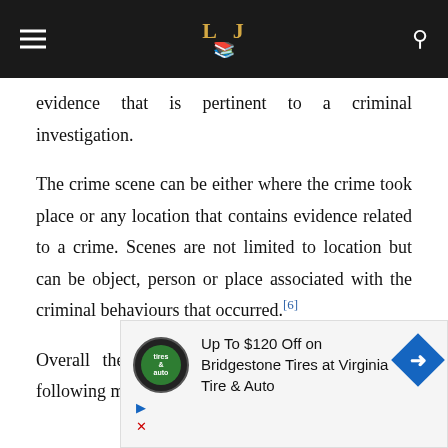LJ [logo with book icon]
evidence that is pertinent to a criminal investigation.
The crime scene can be either where the crime took place or any location that contains evidence related to a crime. Scenes are not limited to location but can be object, person or place associated with the criminal behaviours that occurred.[6]
Overall the criminal investigators work in the following manner:
[Figure (other): Advertisement banner for Bridgestone Tires at Virginia Tire & Auto offering Up To $120 Off, with tire brand logo and blue directional arrow icon.]